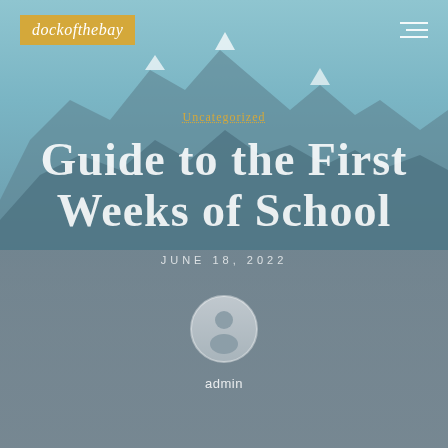dockofthebay
Uncategorized
Guide to the First Weeks of School
JUNE 18, 2022
[Figure (illustration): Circular user avatar icon — grey silhouette of a person on a light grey circular background]
admin